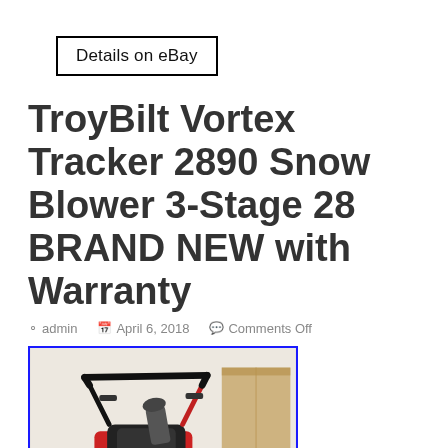Details on eBay
TroyBilt Vortex Tracker 2890 Snow Blower 3-Stage 28 BRAND NEW with Warranty
admin  April 6, 2018  Comments Off
[Figure (photo): Photo of a TroyBilt Vortex Tracker 2890 red snow blower, 3-stage, shown indoors against a light wall with a cardboard box visible. Blue border around image.]